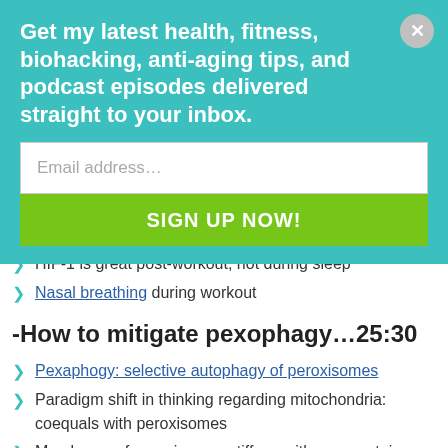Get my latest health, fitness, biohacking, anti-aging tips, and podcast episodes delivered straight to your inbox.
HIF-1 is great post-workout, not during sleep
Nasal breathing during workout
-How to mitigate pexophagy…25:30
Pexaphogy: selective autophagy of peroxisomes
Paradigm shift in thinking regarding mitochondria: coequals with peroxisomes
Membrane of peroxisomes stiffens with age; proteins don't pass as smoothly
Resulting in lack of presence of peroxidase in the cell...